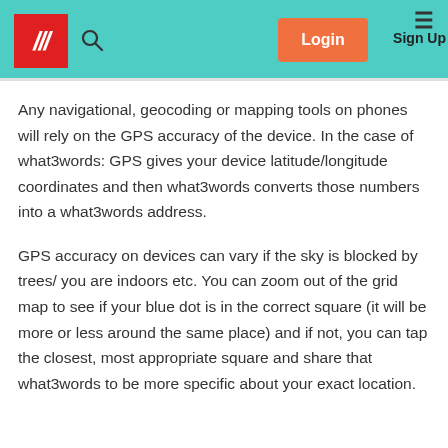/// [logo] [search] Login Sign Up
Any navigational, geocoding or mapping tools on phones will rely on the GPS accuracy of the device. In the case of what3words: GPS gives your device latitude/longitude coordinates and then what3words converts those numbers into a what3words address.
GPS accuracy on devices can vary if the sky is blocked by trees/ you are indoors etc. You can zoom out of the grid map to see if your blue dot is in the correct square (it will be more or less around the same place) and if not, you can tap the closest, most appropriate square and share that what3words to be more specific about your exact location.